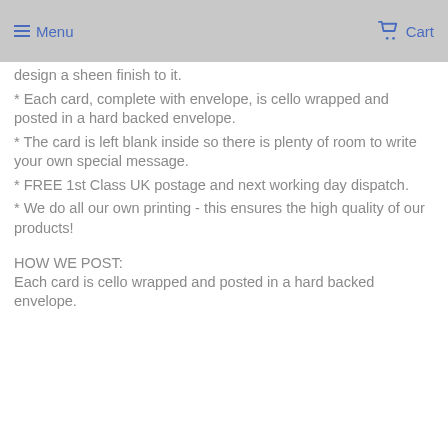Menu  Cart
design a sheen finish to it.
* Each card, complete with envelope, is cello wrapped and posted in a hard backed envelope.
* The card is left blank inside so there is plenty of room to write your own special message.
* FREE 1st Class UK postage and next working day dispatch.
* We do all our own printing - this ensures the high quality of our products!
HOW WE POST:
Each card is cello wrapped and posted in a hard backed envelope.